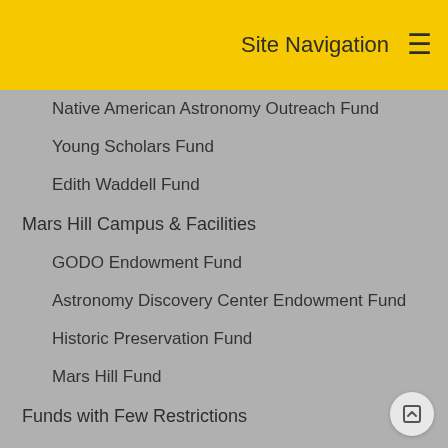Site Navigation
Native American Astronomy Outreach Fund
Young Scholars Fund
Edith Waddell Fund
Mars Hill Campus & Facilities
GODO Endowment Fund
Astronomy Discovery Center Endowment Fund
Historic Preservation Fund
Mars Hill Fund
Funds with Few Restrictions
Lowell Observatory Endowment Fund
Millennium Fund
Lowell Observatory Support Fund
CURRENT PRIORITES